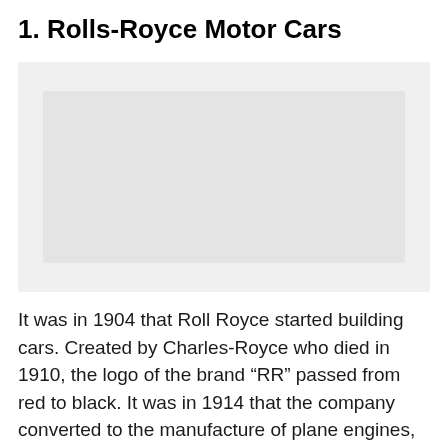1. Rolls-Royce Motor Cars
[Figure (photo): A placeholder image area with a light gray background, likely showing a Rolls-Royce car logo or vehicle image (not visible in scan).]
It was in 1904 that Roll Royce started building cars. Created by Charles-Royce who died in 1910, the logo of the brand “RR” passed from red to black. It was in 1914 that the company converted to the manufacture of plane engines, particularly for the first and second world wars.